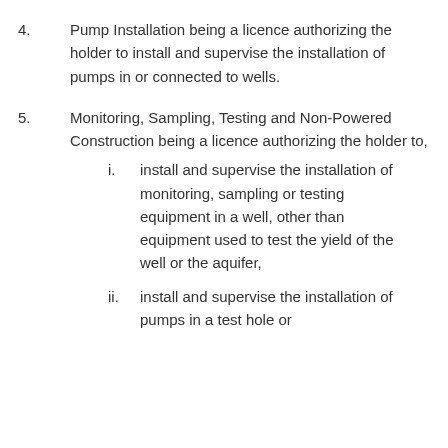4. Pump Installation being a licence authorizing the holder to install and supervise the installation of pumps in or connected to wells.
5. Monitoring, Sampling, Testing and Non-Powered Construction being a licence authorizing the holder to,
i. install and supervise the installation of monitoring, sampling or testing equipment in a well, other than equipment used to test the yield of the well or the aquifer,
ii. install and supervise the installation of pumps in a test hole or